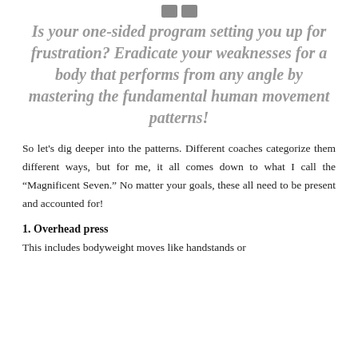[Figure (other): Two small grey square quote icon boxes at the top center of the page]
Is your one-sided program setting you up for frustration? Eradicate your weaknesses for a body that performs from any angle by mastering the fundamental human movement patterns!
So let's dig deeper into the patterns. Different coaches categorize them different ways, but for me, it all comes down to what I call the “Magnificent Seven.” No matter your goals, these all need to be present and accounted for!
1. Overhead press
This includes bodyweight moves like handstands or